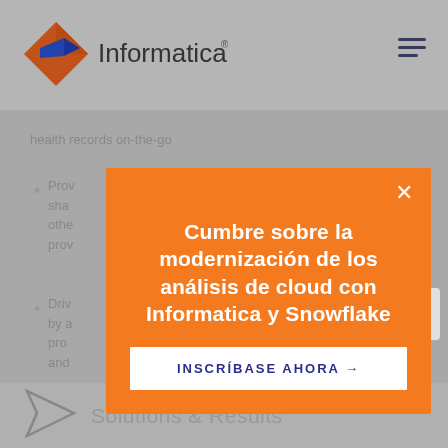[Figure (logo): Informatica logo with orange/brown diamond shape and blue arrow, with 'Informatica' wordmark]
health records on-the-go
Prov... y sha... othe... prov...
Driv... tion by a... rm pro... and...
[Figure (infographic): Orange modal popup with white X close button, Spanish title 'Cumbre sobre la modernización de los análisis de cloud con Informatica y Snowflake', and white CTA button 'INSCRÍBASE AHORA →']
[Figure (illustration): Email envelope icon in a light gray box]
Solutions & Results